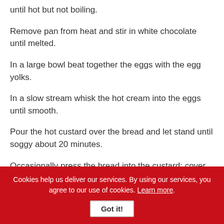until hot but not boiling.
Remove pan from heat and stir in white chocolate until melted.
In a large bowl beat together the eggs with the egg yolks.
In a slow stream whisk the hot cream into the eggs until smooth.
Pour the hot custard over the bread and let stand until soggy about 20 minutes.
Occasionally press the bread into the custard; cover the dish with foil and bake 1 hour.
Cookies help us deliver our services. By using our services, you agree to our use of cookies. Learn more. Got it!